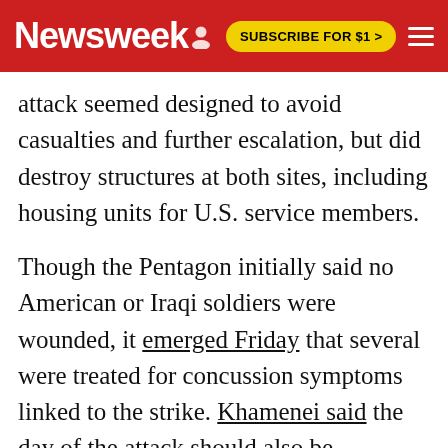Newsweek | SUBSCRIBE FOR $1 >
attack seemed designed to avoid casualties and further escalation, but did destroy structures at both sites, including housing units for U.S. service members.
Though the Pentagon initially said no American or Iraqi soldiers were wounded, it emerged Friday that several were treated for concussion symptoms linked to the strike. Khamenei said the day of the attack should also be considered a "day of Allah."
The regime is facing protests over its downing